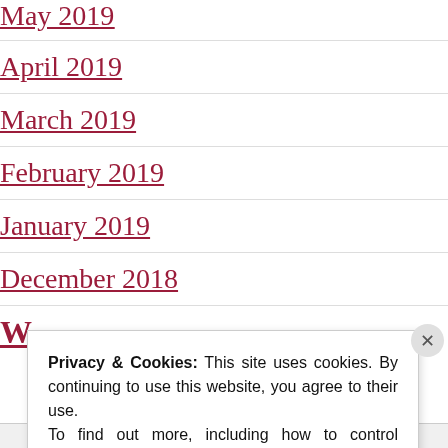May 2019
April 2019
March 2019
February 2019
January 2019
December 2018
W
Privacy & Cookies: This site uses cookies. By continuing to use this website, you agree to their use. To find out more, including how to control cookies, see here: Cookie Policy
Close and accept